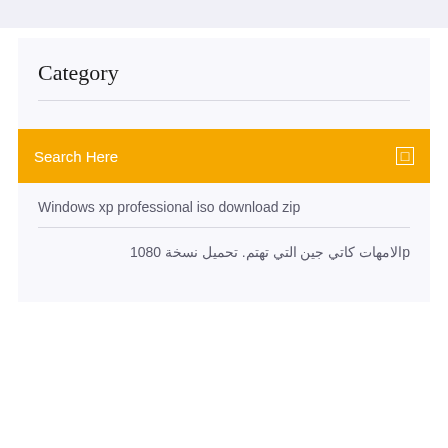Category
Search Here
Windows xp professional iso download zip
pالامهات كاتي جين التي تهتم. تحميل نسخة 1080